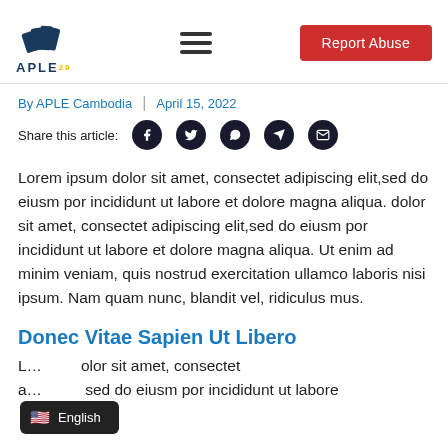APLE (logo) | hamburger menu | Report Abuse button
By APLE Cambodia | April 15, 2022
Share this article: [Facebook] [Twitter] [WhatsApp] [Telegram] [Email]
Lorem ipsum dolor sit amet, consectet adipiscing elit,sed do eiusm por incididunt ut labore et dolore magna aliqua. dolor sit amet, consectet adipiscing elit,sed do eiusm por incididunt ut labore et dolore magna aliqua. Ut enim ad minim veniam, quis nostrud exercitation ullamco laboris nisi ipsum. Nam quam nunc, blandit vel, ridiculus mus.
Donec Vitae Sapien Ut Libero
Lorem ipsum dolor sit amet, consectet adipiscing elit,sed do eiusm por incididunt ut labore
English